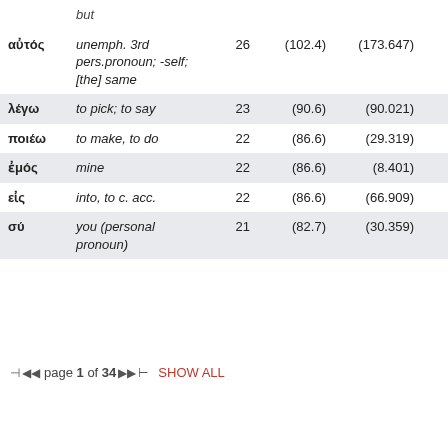|  | but |  |  |  |  |
| --- | --- | --- | --- | --- | --- |
| αὐτός | unemph. 3rd pers.pronoun; -self; [the] same | 26 | (102.4) | (173.647) | (126.45) |
| λέγω | to pick; to say | 23 | (90.6) | (90.021) | (57.06) |
| ποιέω | to make, to do | 22 | (86.6) | (29.319) | (37.03) |
| ἐμός | mine | 22 | (86.6) | (8.401) | (19.01) |
| εἰς | into, to c. acc. | 22 | (86.6) | (66.909) | (80.34) |
| σύ | you (personal pronoun) | 21 | (82.7) | (30.359) | (61.34) |
page 1 of 34   SHOW ALL